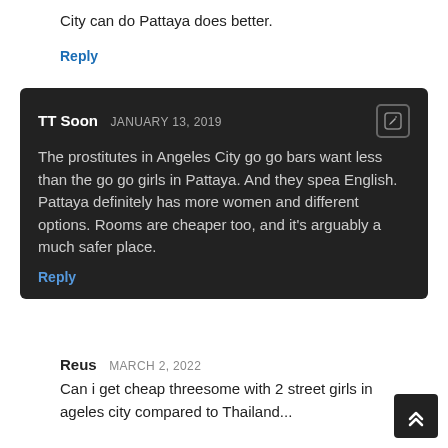City can do Pattaya does better.
Reply
TT Soon JANUARY 13, 2019
The prostitutes in Angeles City go go bars want less than the go go girls in Pattaya. And they spea English. Pattaya definitely has more women and different options. Rooms are cheaper too, and it's arguably a much safer place.
Reply
Reus MARCH 2, 2022
Can i get cheap threesome with 2 street girls in ageles city compared to Thailand...